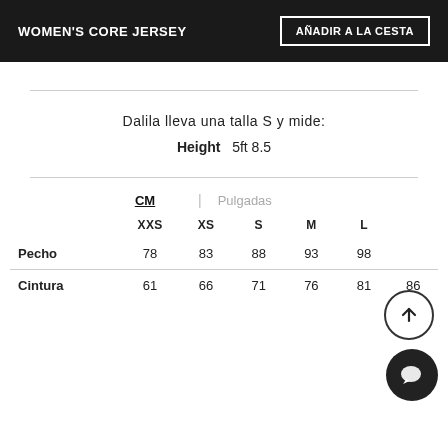WOMEN'S CORE JERSEY
AÑADIR A LA CESTA
Dalila lleva una talla S y mide:
Height   5ft 8.5
|  | XXS | XS | S | M | L |
| --- | --- | --- | --- | --- | --- |
| Pecho | 78 | 83 | 88 | 93 | 98 |
| Cintura | 61 | 66 | 71 | 76 | 81 | 86 |